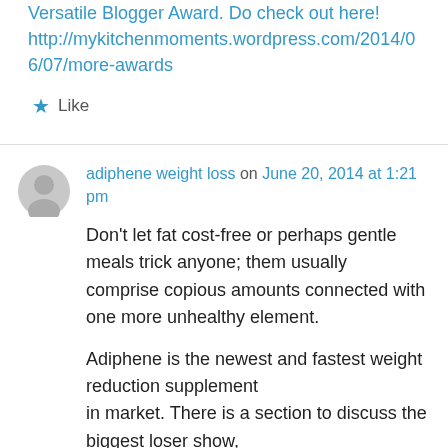Versatile Blogger Award. Do check out here! http://mykitchenmoments.wordpress.com/2014/06/07/more-awards
Like
adiphene weight loss on June 20, 2014 at 1:21 pm
Don't let fat cost-free or perhaps gentle meals trick anyone; them usually comprise copious amounts connected with one more unhealthy element.
Adiphene is the newest and fastest weight reduction supplement in market. There is a section to discuss the biggest loser show,